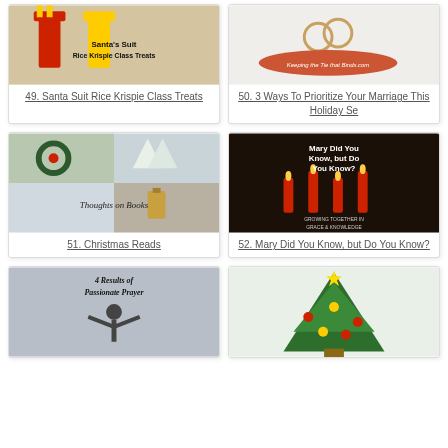[Figure (photo): Santa's Suit Rice Krispie Class Treats - image showing red and yellow craft sticks on tan background with text overlay]
49. Santa Suit Rice Krispie Class Treats
[Figure (photo): Wedding rings on white background with orange banner overlay reading 'Keeping the Tie that Binds.com']
50. 3 Ways To Prioritize Your Marriage This Holiday Se
[Figure (photo): Collage of winter/Christmas scenes with wreath, snowy trees, lantern, with text 'Thoughts on Books']
51. Christmas Reads
[Figure (photo): Dark image of Advent candles with red apples, text overlay 'Mary Did You Know, but Do You Know? GROWING TOGETHER IN GRACE & KNOWLEDGE']
52. Mary Did You Know, but Do You Know?
[Figure (photo): Person with arms raised in winter scene, text overlay '4 Results of Passionate Prayer']
[Figure (photo): Decorated Christmas tree with red ornaments and lights in a bright room]